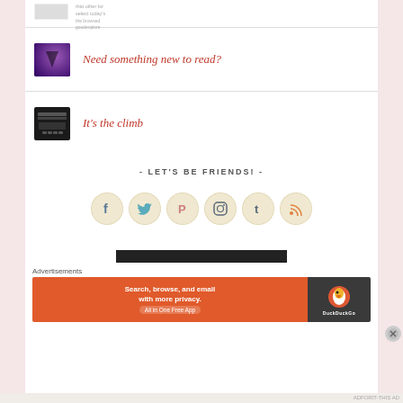[Figure (screenshot): Small thumbnail with text stub at top]
[Figure (illustration): Purple moon/fantasy book cover thumbnail]
Need something new to read?
[Figure (photo): Typewriter image thumbnail]
It's the climb
- LET'S BE FRIENDS! -
[Figure (infographic): Social media icons: Facebook, Twitter, Pinterest, Instagram, Tumblr, RSS]
Advertisements
[Figure (screenshot): DuckDuckGo advertisement banner: Search, browse, and email with more privacy. All in One Free App]